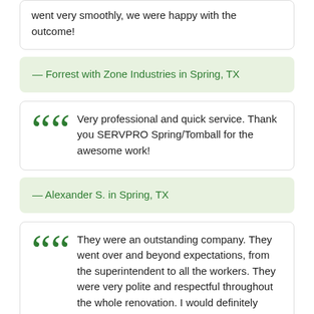went very smoothly, we were happy with the outcome!
— Forrest with Zone Industries in Spring, TX
Very professional and quick service. Thank you SERVPRO Spring/Tomball for the awesome work!
— Alexander S. in Spring, TX
They were an outstanding company. They went over and beyond expectations, from the superintendent to all the workers. They were very polite and respectful throughout the whole renovation. I would definitely recommend them again! I was so happy that Allstate recommended them to us. All the people that came into the house were lovely. Shane was outstanding.